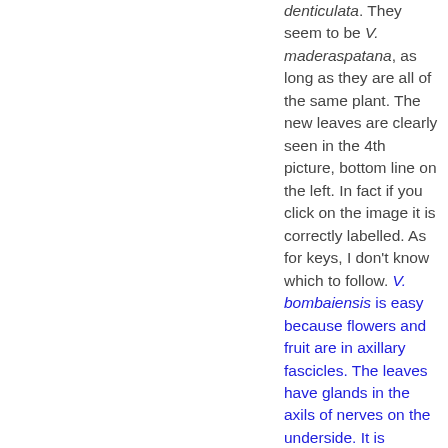denticulata. They seem to be V. maderaspatana, as long as they are all of the same plant. The new leaves are clearly seen in the 4th picture, bottom line on the left. In fact if you click on the image it is correctly labelled. As for keys, I don't know which to follow. V. bombaiensis is easy because flowers and fruit are in axillary fascicles. The leaves have glands in the axils of nerves on the underside. It is restricted to